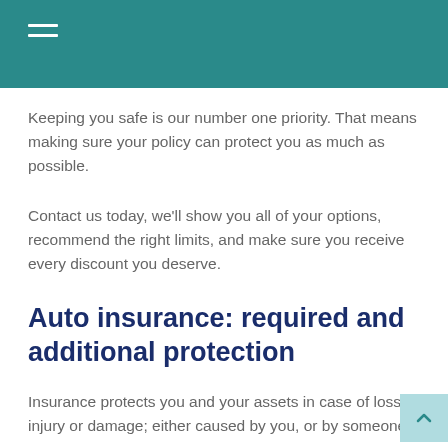Keeping you safe is our number one priority. That means making sure your policy can protect you as much as possible.
Contact us today, we'll show you all of your options, recommend the right limits, and make sure you receive every discount you deserve.
Auto insurance: required and additional protection
Insurance protects you and your assets in case of loss, injury or damage; either caused by you, or by someone